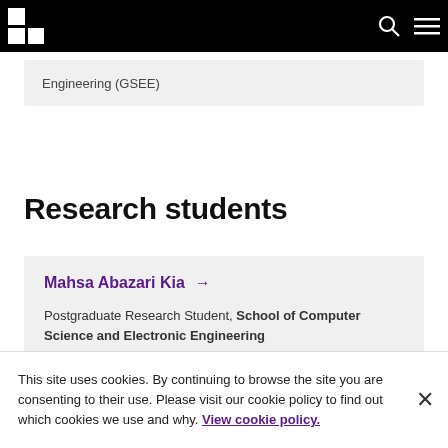Navigation bar with logo, search and menu icons
Engineering (GSEE)
Research students
Mahsa Abazari Kia → Postgraduate Research Student, School of Computer Science and Electronic Engineering
This site uses cookies. By continuing to browse the site you are consenting to their use. Please visit our cookie policy to find out which cookies we use and why. View cookie policy.